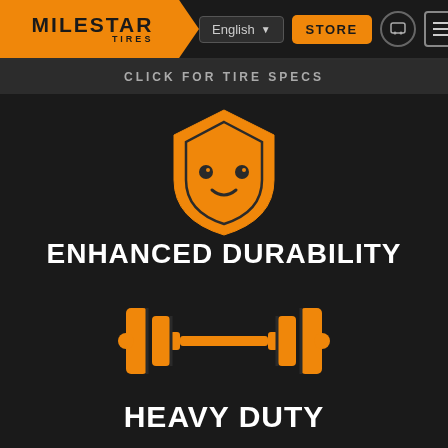[Figure (logo): Milestar Tires logo on orange background with chevron/arrow shape pointing right]
English ▼
STORE
CLICK FOR TIRE SPECS
[Figure (illustration): Orange shield/heart shaped icon with two dot eyes - Milestar mascot icon]
ENHANCED DURABILITY
[Figure (illustration): Orange dumbbell/barbell icon representing heavy duty strength]
HEAVY DUTY